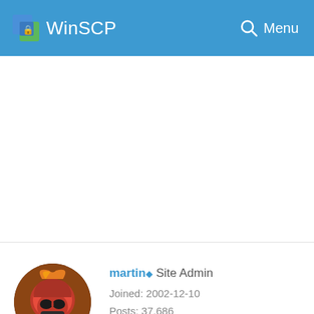WinSCP  Menu
[Figure (screenshot): WinSCP website header bar with logo icon, site title 'WinSCP', search icon, and Menu link on blue background]
martin◆ Site Admin
Joined: 2002-12-10
Posts: 37,686
Location: Prague, Czechia